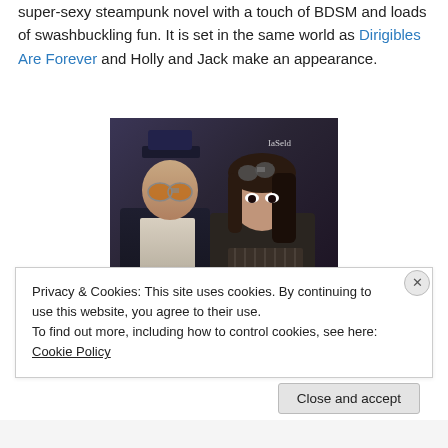super-sexy steampunk novel with a touch of BDSM and loads of swashbuckling fun. It is set in the same world as Dirigibles Are Forever and Holly and Jack make an appearance.
[Figure (photo): Two people in steampunk costumes — a man with orange-tinted round goggles and a top hat, and a woman with goggles on her head, set against a dark industrial background. Watermark 'IaSeld' in top right.]
Privacy & Cookies: This site uses cookies. By continuing to use this website, you agree to their use.
To find out more, including how to control cookies, see here: Cookie Policy
Close and accept